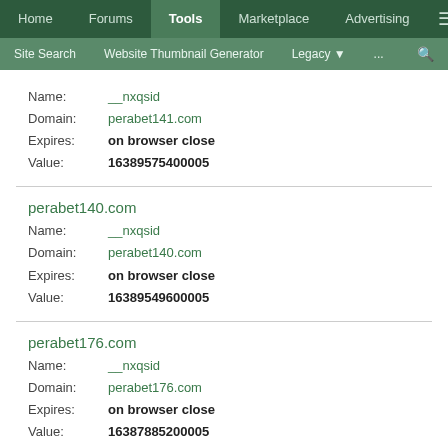Home | Forums | Tools | Marketplace | Advertising | ≡
Site Search | Website Thumbnail Generator | Legacy | ... | 🔍
Name: __nxqsid
Domain: perabet141.com
Expires: on browser close
Value: 16389575400005
perabet140.com
Name: __nxqsid
Domain: perabet140.com
Expires: on browser close
Value: 16389549600005
perabet176.com
Name: __nxqsid
Domain: perabet176.com
Expires: on browser close
Value: 16387885200005
perabet161.com
Name: __nxqsid
Domain: perabet161.com
Expires: on browser close
Value: 16387111200005